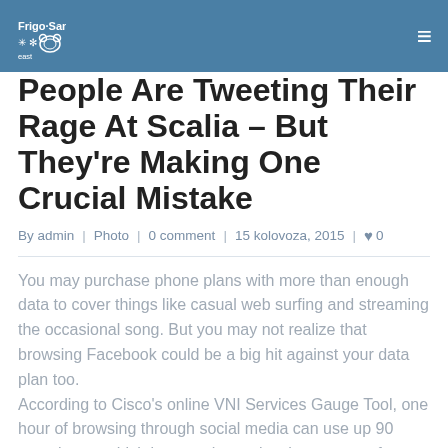Frigo-Sani East
People Are Tweeting Their Rage At Scalia – But They're Making One Crucial Mistake
By admin | Photo | 0 comment | 15 kolovoza, 2015 | ♥ 0
You may purchase phone plans with more than enough data to cover things like casual web surfing and streaming the occasional song. But you may not realize that browsing Facebook could be a big hit against your data plan too.
According to Cisco's online VNI Services Gauge Tool, one hour of browsing through social media can use up 90 megabytes, which is more than twice the amount of